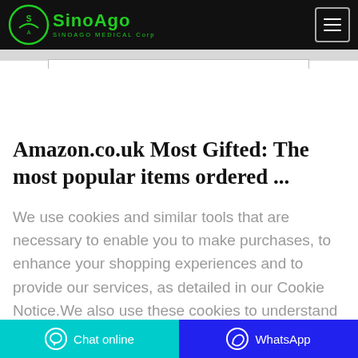[Figure (logo): SinoAgo Medical Corp logo — green circular emblem with SA letters and green text SINOAGO on black header bar]
Amazon.co.uk Most Gifted: The most popular items ordered ...
We use cookies and similar tools that are necessary to enable you to make purchases, to enhance your shopping experiences and to provide our services, as detailed in our Cookie Notice.We also use these cookies to understand how customers use our
Chat online   WhatsApp